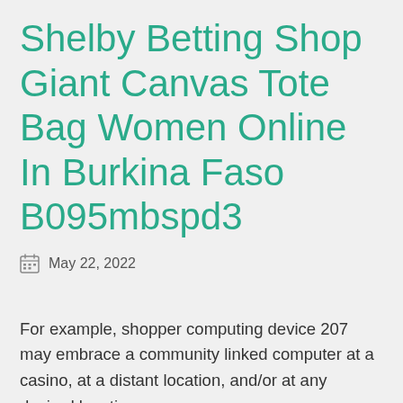Shelby Betting Shop Giant Canvas Tote Bag Women Online In Burkina Faso B095mbspd3
May 22, 2022
For example, shopper computing device 207 may embrace a community linked computer at a casino, at a distant location, and/or at any desired location.